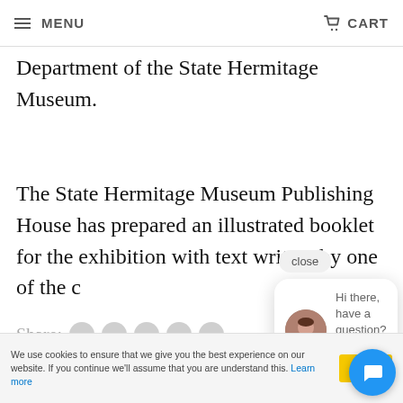MENU   CART
and Daria Vasilieva, a junior scientific researcher at the Oriental Department of the State Hermitage Museum.
The State Hermitage Museum Publishing House has prepared an illustrated booklet for the exhibition with text written by one of the c...
Share:
close
Hi there, have a question? Text us here.
We use cookies to ensure that we give you the best experience on our website. If you continue we'll assume that you are understand this. Learn more